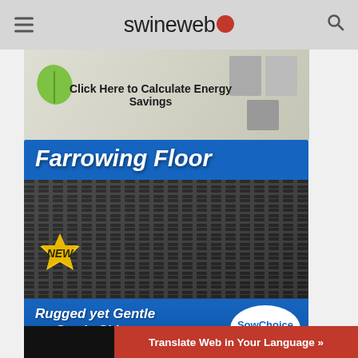swineweb
[Figure (photo): Advertisement banner with green leaf graphic and text 'Click Here to Calculate Energy Savings']
[Figure (photo): Advertisement for SowChoice Systems Farrowing Floor product. Shows dark plastic/metal slatted floor panels with text 'Farrowing Floor', 'NEW' badge, 'Rugged yet Gentle on Sow's Skin', and SowChoice Systems logo.]
[Figure (photo): Broken image icon]
Translate Web in Your Language »